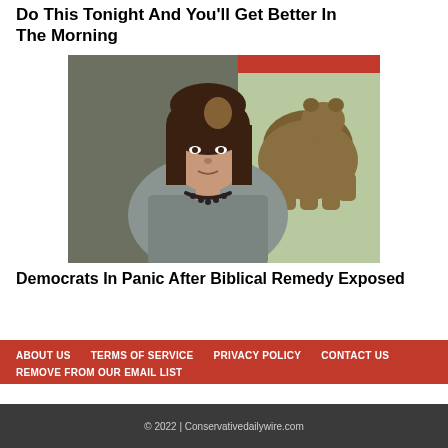Do This Tonight And You'll Get Better In The Morning
[Figure (photo): Portrait photo of a woman with shoulder-length dark hair with highlights, wearing a grey blazer and dark beaded necklace, in front of a California state flag showing a bear]
Democrats In Panic After Biblical Remedy Exposed
ABOUT US   TERMS OF SERVICE   PRIVACY POLICY   CONTACT US   REMOVE FROM OUR EMAIL LIST
© 2022 | Conservativedailywire.com